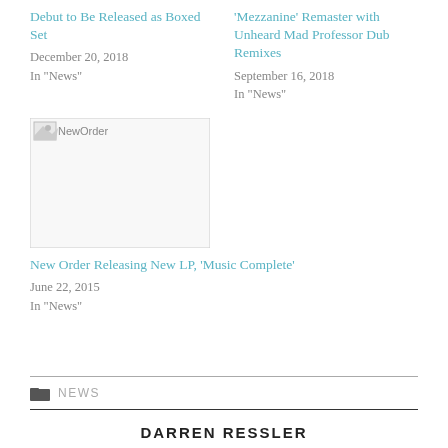Debut to Be Released as Boxed Set
December 20, 2018
In "News"
‘Mezzanine’ Remaster with Unheard Mad Professor Dub Remixes
September 16, 2018
In "News"
[Figure (photo): Broken image placeholder labeled NewOrder]
New Order Releasing New LP, ‘Music Complete’
June 22, 2015
In "News"
NEWS
DARREN RESSLER